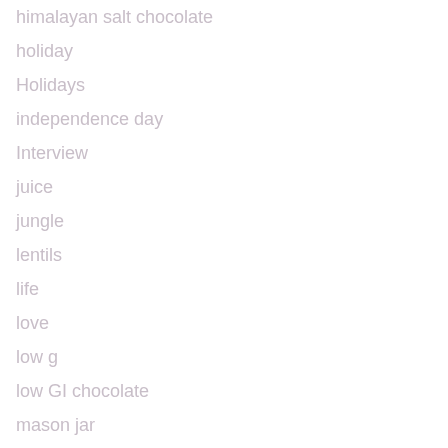himalayan salt chocolate
holiday
Holidays
independence day
Interview
juice
jungle
lentils
life
love
low g
low GI chocolate
mason jar